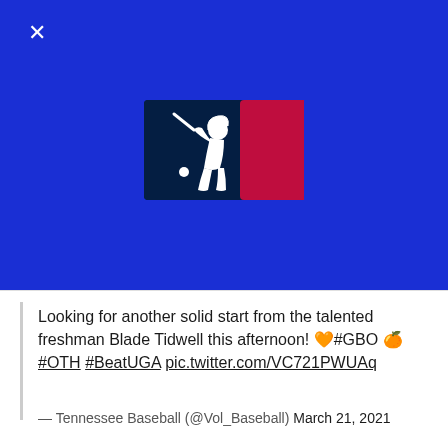[Figure (logo): MLB (Major League Baseball) logo on a royal blue background with a close/X button in the top left corner]
Looking for another solid start from the talented freshman Blade Tidwell this afternoon! 🧡#GBO 🍊#OTH #BeatUGA pic.twitter.com/VC721PWUAq
— Tennessee Baseball (@Vol_Baseball) March 21, 2021